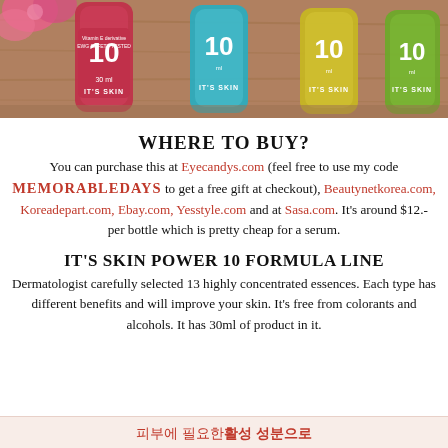[Figure (photo): Photo of It's Skin Power 10 Formula serum bottles in pink/red, teal/blue, yellow, and green colors arranged on a wooden surface with pink flowers in background]
WHERE TO BUY?
You can purchase this at Eyecandys.com (feel free to use my code MEMORABLEDAYS to get a free gift at checkout), Beautynetkorea.com, Koreadepart.com, Ebay.com, Yesstyle.com and at Sasa.com. It's around $12.- per bottle which is pretty cheap for a serum.
IT'S SKIN POWER 10 FORMULA LINE
Dermatologist carefully selected 13 highly concentrated essences. Each type has different benefits and will improve your skin. It's free from colorants and alcohols. It has 30ml of product in it.
피부에 필요한 활성 성분으로